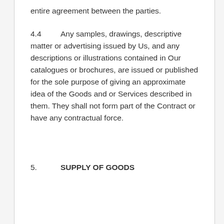entire agreement between the parties.
4.4 Any samples, drawings, descriptive matter or advertising issued by Us, and any descriptions or illustrations contained in Our catalogues or brochures, are issued or published for the sole purpose of giving an approximate idea of the Goods and or Services described in them. They shall not form part of the Contract or have any contractual force.
5. SUPPLY OF GOODS